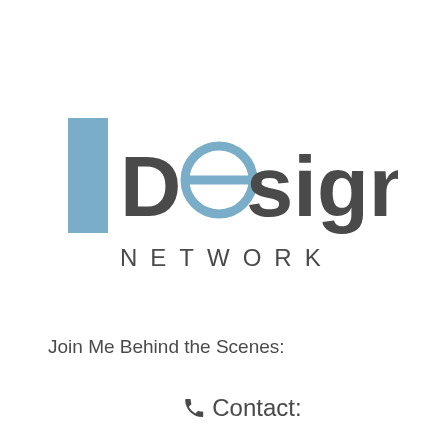[Figure (logo): The Design Network logo — a blue rectangle with 'THE' written vertically in white, followed by 'Design' in large bold dark-gray text where the 'e' is styled as a circle with a horizontal line through it in blue, and 'NETWORK' in spaced dark-gray capitals below.]
Join Me Behind the Scenes:
📞 Contact: